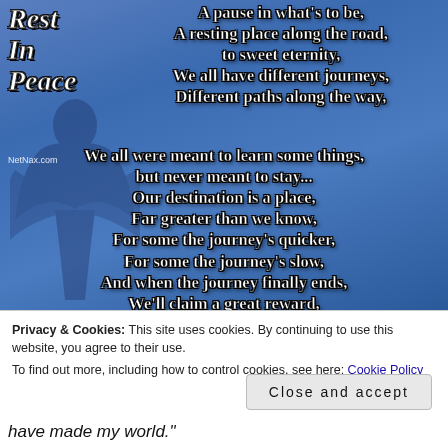[Figure (illustration): A blue-gradient background image with a 'Rest In Peace' gothic text logo in the upper left, an angel silhouette watermark, and a poem in bold white text reading: 'A pause in what's to be, A resting place along the road, to sweet eternity, We all have different journeys, Different paths along the way, We all were meant to learn some things, but never meant to stay... Our destination is a place, Far greater than we know, For some the journey's quicker, For some the journey's slow, And when the journey finally ends, We'll claim a great reward, And find an everlasting peace.' Watermark: NetNax.com]
Privacy & Cookies: This site uses cookies. By continuing to use this website, you agree to their use.
To find out more, including how to control cookies, see here: Cookie Policy
Close and accept
have made my world."